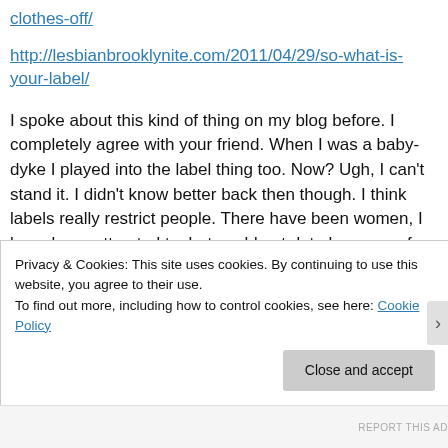clothes-off/
http://lesbianbrooklynite.com/2011/04/29/so-what-is-your-label/
I spoke about this kind of thing on my blog before. I completely agree with your friend. When I was a baby-dyke I played into the label thing too. Now? Ugh, I can’t stand it. I didn’t know better back then though. I think labels really restrict people. There have been women, I have been attracted to, but could not date because of how strongly they relied on their label. The “studs don’t
Privacy & Cookies: This site uses cookies. By continuing to use this website, you agree to their use.
To find out more, including how to control cookies, see here: Cookie Policy
Close and accept
REPORT THIS AD